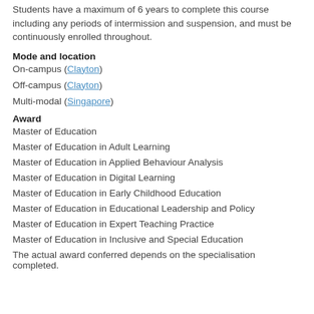Students have a maximum of 6 years to complete this course including any periods of intermission and suspension, and must be continuously enrolled throughout.
Mode and location
On-campus (Clayton)
Off-campus (Clayton)
Multi-modal (Singapore)
Award
Master of Education
Master of Education in Adult Learning
Master of Education in Applied Behaviour Analysis
Master of Education in Digital Learning
Master of Education in Early Childhood Education
Master of Education in Educational Leadership and Policy
Master of Education in Expert Teaching Practice
Master of Education in Inclusive and Special Education
The actual award conferred depends on the specialisation completed.